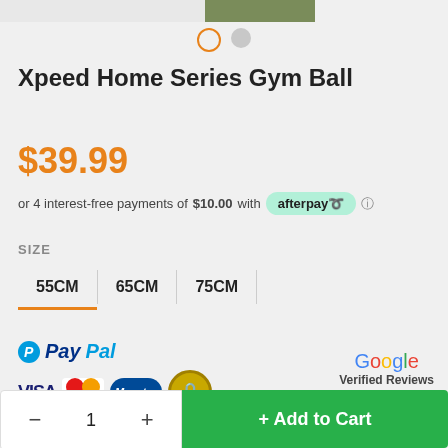[Figure (screenshot): Top portion of product image thumbnails — left blank/grey area and center green/grass texture]
[Figure (other): Carousel navigation dots — orange outlined circle (active) and grey filled circle]
Xpeed Home Series Gym Ball
$39.99
or 4 interest-free payments of $10.00 with afterpay ℹ
SIZE
55CM
65CM
75CM
[Figure (logo): Payment logos: PayPal, VISA, Mastercard, Maestro, secure lock badge, Google Verified Reviews with 5 stars]
− 1 +
+ Add to Cart